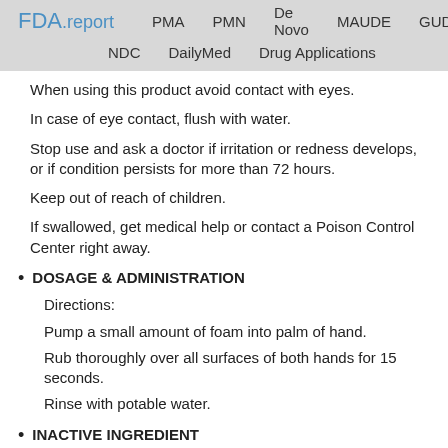FDA.report  PMA  PMN  De Novo  MAUDE  GUDID  NDC  DailyMed  Drug Applications
When using this product avoid contact with eyes.
In case of eye contact, flush with water.
Stop use and ask a doctor if irritation or redness develops, or if condition persists for more than 72 hours.
Keep out of reach of children.
If swallowed, get medical help or contact a Poison Control Center right away.
DOSAGE & ADMINISTRATION
Directions:
Pump a small amount of foam into palm of hand.
Rub thoroughly over all surfaces of both hands for 15 seconds.
Rinse with potable water.
INACTIVE INGREDIENT